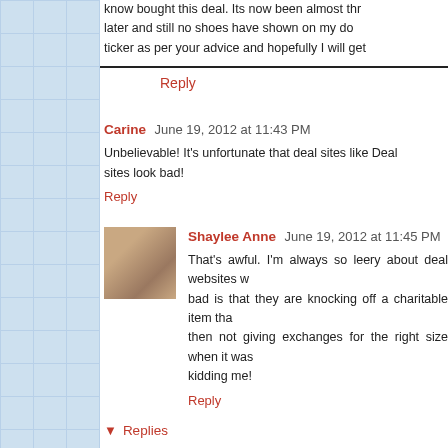know bought this deal. Its now been almost thr later and still no shoes have shown on my do ticker as per your advice and hopefully I will get
Reply
Carine  June 19, 2012 at 11:43 PM
Unbelievable! It's unfortunate that deal sites like Deal sites look bad!
Reply
Shaylee Anne  June 19, 2012 at 11:45 PM
That's awful. I'm always so leery about deal websites w bad is that they are knocking off a charitable item tha then not giving exchanges for the right size when it was kidding me!
Reply
▼ Replies